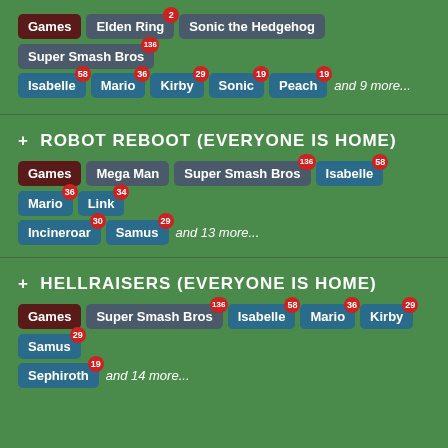Games | Elden Ring (2) | Sonic the Hedgehog | Super Smash Bros (136) | Isabelle (58) | Mario (36) | Kirby (29) | Sonic (19) | Peach (19) | and 9 more...
+ ROBOT REBOOT (EVERYONE IS HOME)
Games | Mega Man | Super Smash Bros (136) | Isabelle (58) | Mario (36) | Link (34) | Incineroar (30) | Samus (29) | and 13 more...
+ HELLRAISERS (EVERYONE IS HOME)
Games | Super Smash Bros (136) | Isabelle (58) | Mario (36) | Kirby (29) | Samus (29) | Sephiroth (19) | and 14 more...